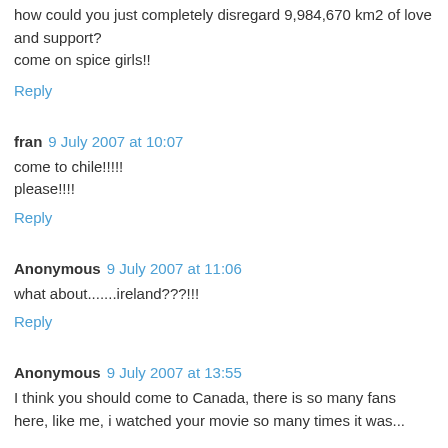how could you just completely disregard 9,984,670 km2 of love and support?
come on spice girls!!
Reply
fran 9 July 2007 at 10:07
come to chile!!!!!
please!!!!
Reply
Anonymous 9 July 2007 at 11:06
what about.......ireland???!!!
Reply
Anonymous 9 July 2007 at 13:55
I think you should come to Canada, there is so many fans here, like me, i watched your movie so many times it was...